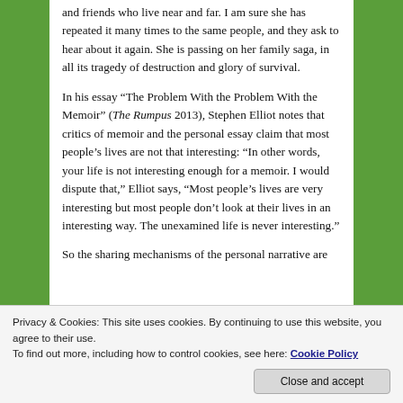and friends who live near and far. I am sure she has repeated it many times to the same people, and they ask to hear about it again. She is passing on her family saga, in all its tragedy of destruction and glory of survival.
In his essay “The Problem With the Problem With the Memoir” (The Rumpus 2013), Stephen Elliot notes that critics of memoir and the personal essay claim that most people’s lives are not that interesting: “In other words, your life is not interesting enough for a memoir. I would dispute that,” Elliot says, “Most people’s lives are very interesting but most people don’t look at their lives in an interesting way. The unexamined life is never interesting.”
So the sharing mechanisms of the personal narrative are
Privacy & Cookies: This site uses cookies. By continuing to use this website, you agree to their use.
To find out more, including how to control cookies, see here: Cookie Policy